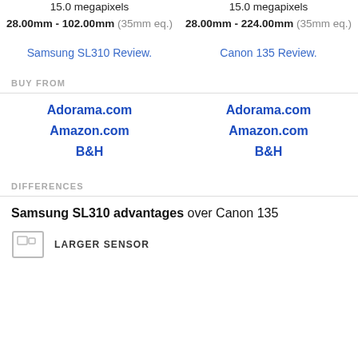15.0 megapixels / 15.0 megapixels
28.00mm - 102.00mm (35mm eq.)
28.00mm - 224.00mm (35mm eq.)
Samsung SL310 Review.
Canon 135 Review.
BUY FROM
Adorama.com
Amazon.com
B&H
Adorama.com
Amazon.com
B&H
DIFFERENCES
Samsung SL310 advantages over Canon 135
LARGER SENSOR